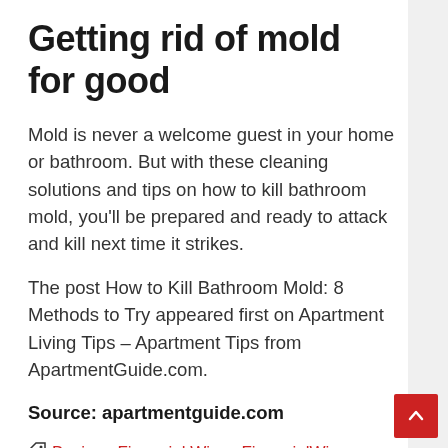Getting rid of mold for good
Mold is never a welcome guest in your home or bathroom. But with these cleaning solutions and tips on how to kill bathroom mold, you'll be prepared and ready to attack and kill next time it strikes.
The post How to Kill Bathroom Mold: 8 Methods to Try appeared first on Apartment Living Tips – Apartment Tips from ApartmentGuide.com.
Source: apartmentguide.com
Buying, Financial Wize, FinancialWize,